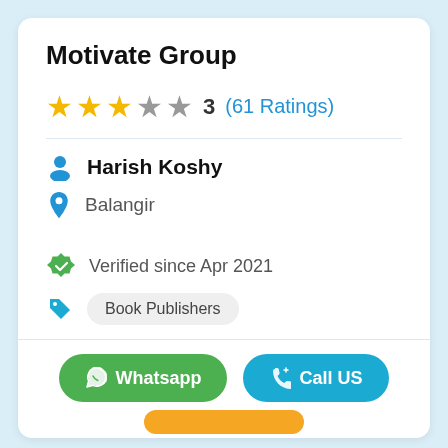Motivate Group
3 (61 Ratings)
Harish Koshy
Balangir
Verified since Apr 2021
Book Publishers
Whatsapp
Call US